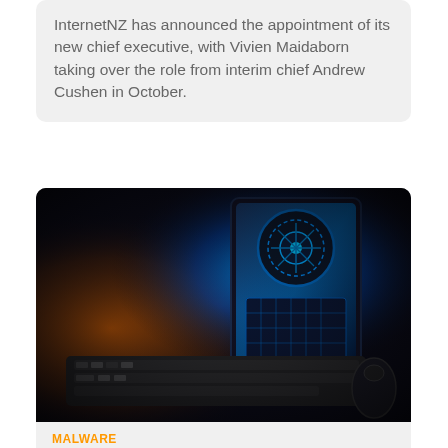InternetNZ has announced the appointment of its new chief executive, with Vivien Maidaborn taking over the role from interim chief Andrew Cushen in October.
[Figure (photo): Photograph of a gaming PC with illuminated blue LED case, keyboard and mouse on a dark desk]
MALWARE
Research shows attacks on the gaming industry are getting worse
Web application attacks in the gaming